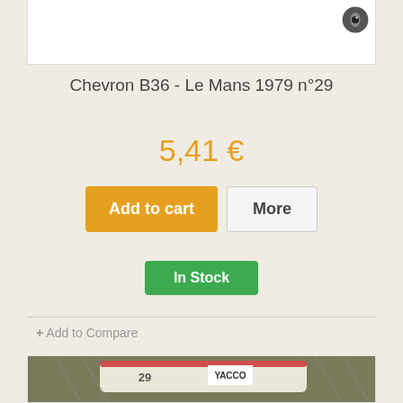[Figure (photo): Top portion of a product listing page showing white image placeholder box with eye icon in top right corner]
Chevron B36 - Le Mans 1979 n°29
5,41 €
Add to cart
More
In Stock
+ Add to Compare
[Figure (photo): Partial view of a model car (Chevron B36) with YACCO branding visible, photographed from above on a dark surface]